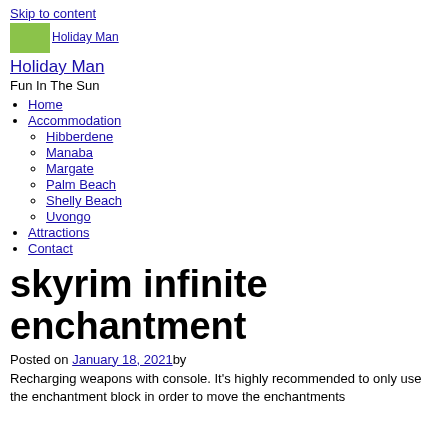Skip to content
[Figure (illustration): Holiday Man site logo image]
Holiday Man
Fun In The Sun
Home
Accommodation
Hibberdene
Manaba
Margate
Palm Beach
Shelly Beach
Uvongo
Attractions
Contact
skyrim infinite enchantment
Posted on January 18, 2021 by
Recharging weapons with console. It's highly recommended to only use the enchantment block in order to move the enchantments